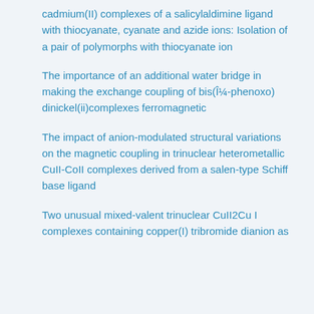cadmium(II) complexes of a salicylaldimine ligand with thiocyanate, cyanate and azide ions: Isolation of a pair of polymorphs with thiocyanate ion
The importance of an additional water bridge in making the exchange coupling of bis(μ¼-phenoxo) dinickel(ii)complexes ferromagnetic
The impact of anion-modulated structural variations on the magnetic coupling in trinuclear heterometallic CuII-CoII complexes derived from a salen-type Schiff base ligand
Two unusual mixed-valent trinuclear CuII2Cu I complexes containing copper(I) tribromide dianion as